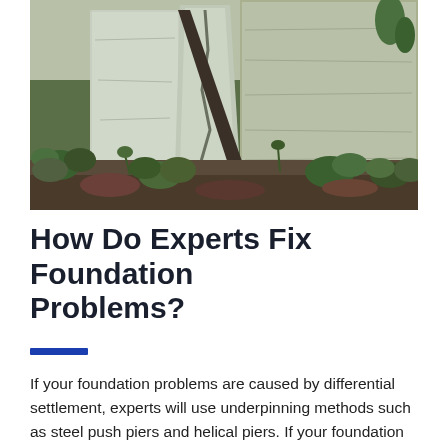[Figure (photo): Close-up photograph of cracked and deteriorating concrete foundation with green plants and weeds growing through the cracks and around the base]
How Do Experts Fix Foundation Problems?
If your foundation problems are caused by differential settlement, experts will use underpinning methods such as steel push piers and helical piers. If your foundation problems are